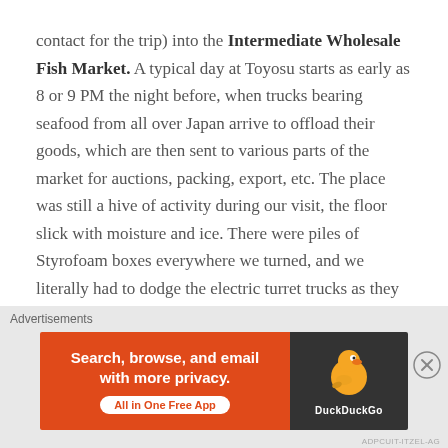contact for the trip) into the Intermediate Wholesale Fish Market. A typical day at Toyosu starts as early as 8 or 9 PM the night before, when trucks bearing seafood from all over Japan arrive to offload their goods, which are then sent to various parts of the market for auctions, packing, export, etc. The place was still a hive of activity during our visit, the floor slick with moisture and ice. There were piles of Styrofoam boxes everywhere we turned, and we literally had to dodge the electric turret trucks as they zoomed past bearing cargo. Tourists are not allowed within the premises, so
Advertisements
[Figure (other): DuckDuckGo advertisement banner. Orange left section reads 'Search, browse, and email with more privacy. All in One Free App'. Dark right section shows DuckDuckGo duck logo and brand name.]